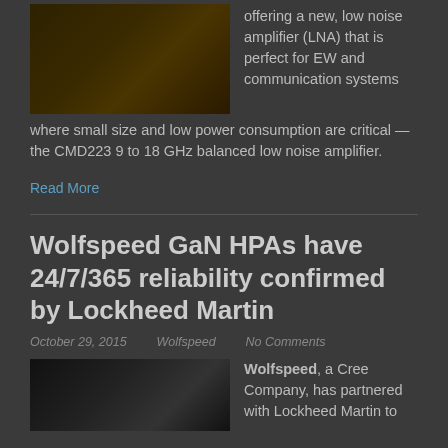[Figure (photo): Electronic component or circuit board with warm amber/orange lighting]
offering a new, low noise amplifier (LNA) that is perfect for EW and communication systems where small size and low power consumption are critical — the CMD223 9 to 18 GHz balanced low noise amplifier.
Read More
Wolfspeed GaN HPAs have 24/7/365 reliability confirmed by Lockheed Martin
October 29, 2015   Wolfspeed   No Comments
[Figure (photo): Dark photo showing radar or satellite dish equipment]
Wolfspeed, a Cree Company, has partnered with Lockheed Martin to